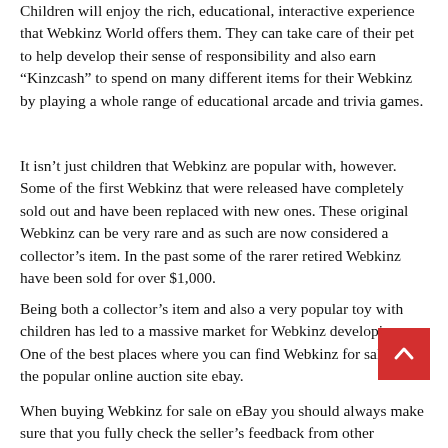Children will enjoy the rich, educational, interactive experience that Webkinz World offers them. They can take care of their pet to help develop their sense of responsibility and also earn “Kinzcash” to spend on many different items for their Webkinz by playing a whole range of educational arcade and trivia games.
It isn’t just children that Webkinz are popular with, however. Some of the first Webkinz that were released have completely sold out and have been replaced with new ones. These original Webkinz can be very rare and as such are now considered a collector’s item. In the past some of the rarer retired Webkinz have been sold for over $1,000.
Being both a collector’s item and also a very popular toy with children has led to a massive market for Webkinz developing. One of the best places where you can find Webkinz for sale is at the popular online auction site ebay.
When buying Webkinz for sale on eBay you should always make sure that you fully check the seller’s feedback from other